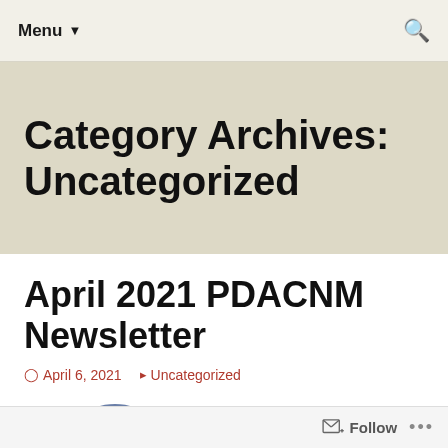Menu ▼
Category Archives: Uncategorized
April 2021 PDACNM Newsletter
April 6, 2021   Uncategorized
[Figure (logo): Partial circular logo at bottom of page]
Follow ...